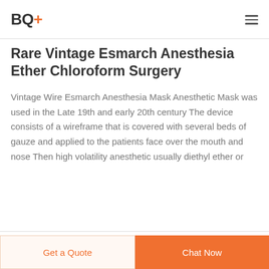BQ+
Rare Vintage Esmarch Anesthesia Ether Chloroform Surgery
Vintage Wire Esmarch Anesthesia Mask Anesthetic Mask was used in the Late 19th and early 20th century The device consists of a wireframe that is covered with several beds of gauze and applied to the patients face over the mouth and nose Then high volatility anesthetic usually diethyl ether or
Get a Quote   Chat Now